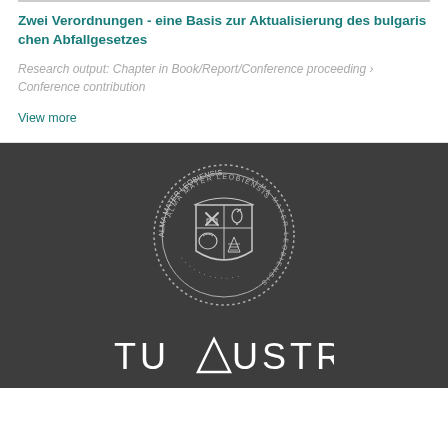Zwei Verordnungen - eine Basis zur Aktualisierung des bulgarischen Abfallgesetzes
Research output: Chapter in Book/Report/Conference proceeding › Conference contribution
View more
[Figure (logo): Circular seal/crest of Alma Mater Leobiensis (TU Austria) with heraldic shield containing crossed hammers, a book, a flamingo, a lion, and mountains, surrounded by dotted border and text 'ALMA MATER LEOBIENSIS']
[Figure (logo): TU AUSTRIA wordmark in white capital letters with a triangle replacing the A in AUSTRIA]